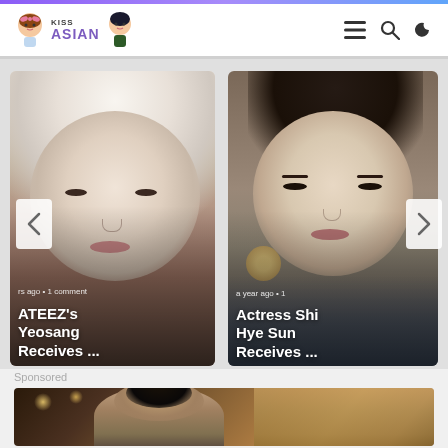KISS ASIAN
[Figure (photo): Article card showing ATEEZ's Yeosang with white/platinum blonde hair, close-up face shot. Overlay text: 'rs ago • 1 comment' and title 'ATEEZ's Yeosang Receives ...']
[Figure (photo): Article card showing Actress Shin Hye Sun in traditional Korean costume, close-up face shot. Overlay text: 'a year ago • 1' and title 'Actress Shi Hye Sun Receives ...']
Sponsored
[Figure (photo): Sponsored advertisement image showing a man in a restaurant/bar setting with warm lighting and wooden decor in the background.]